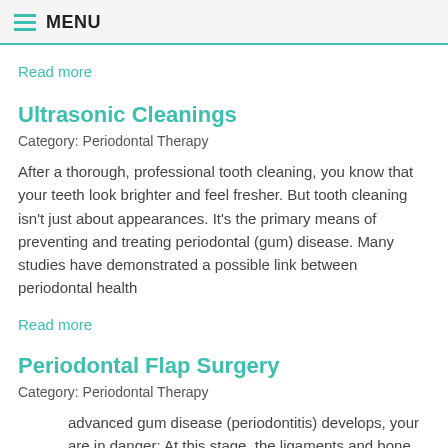MENU
Read more
Ultrasonic Cleanings
Category: Periodontal Therapy
After a thorough, professional tooth cleaning, you know that your teeth look brighter and feel fresher. But tooth cleaning isn't just about appearances. It's the primary means of preventing and treating periodontal (gum) disease. Many studies have demonstrated a possible link between periodontal health
Read more
Periodontal Flap Surgery
Category: Periodontal Therapy
advanced gum disease (periodontitis) develops, your are in danger: At this stage, the ligaments and bone tissue that surround them are being destroyed, and you could even